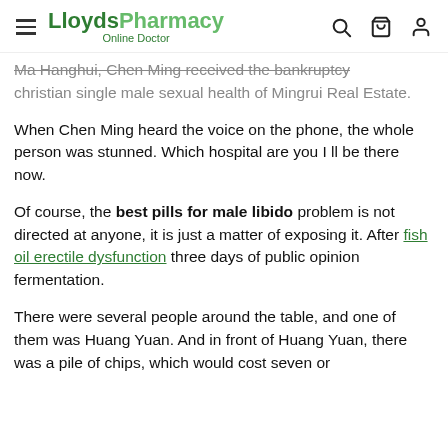LloydsPharmacy Online Doctor
Ma Hanghui, Chen Ming received the bankruptcy christian single male sexual health of Mingrui Real Estate.
When Chen Ming heard the voice on the phone, the whole person was stunned. Which hospital are you I ll be there now.
Of course, the best pills for male libido problem is not directed at anyone, it is just a matter of exposing it. After fish oil erectile dysfunction three days of public opinion fermentation.
There were several people around the table, and one of them was Huang Yuan. And in front of Huang Yuan, there was a pile of chips, which would cost seven or eight million.